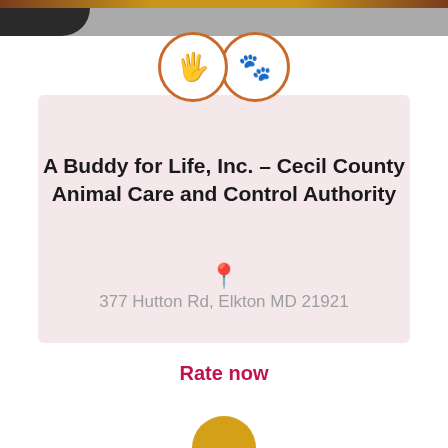[Figure (illustration): Two circular icons side by side: left icon shows a hand with a paw print, right icon shows a heart with a paw print. Both outlined in orange-brown on white circles.]
A Buddy for Life, Inc. – Cecil County Animal Care and Control Authority
377 Hutton Rd, Elkton MD 21921
Rate now
[Figure (illustration): Partial orange circle visible at bottom center of page]